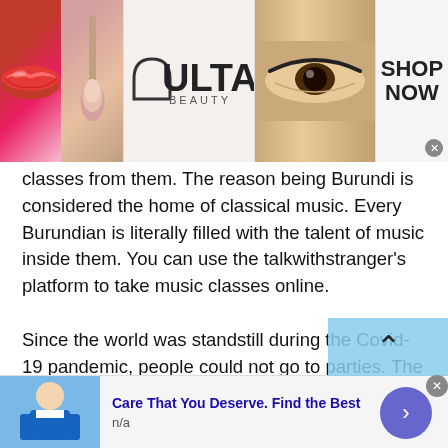[Figure (photo): Top advertisement banner for Ulta Beauty with makeup images (lips with red lipstick, makeup brush, eye with dramatic makeup), Ulta Beauty logo, eye closeup, and 'SHOP NOW' call to action button]
classes from them. The reason being Burundi is considered the home of classical music. Every Burundian is literally filled with the talent of music inside them. You can use the talkwithstranger's platform to take music classes online.
Since the world was standstill during the Covid-19 pandemic, people could not go to parties. The organizers would then simply host digital parties. These watch parties would encourage thousands of people and even introverts to join these parties.
[Figure (other): Scroll-to-top button with upward arrow chevron on light blue background]
[Figure (photo): Bottom advertisement banner showing a doctor/medical professional image with text 'Care That You Deserve. Find the Best' and 'n/a', with a purple circle arrow button]